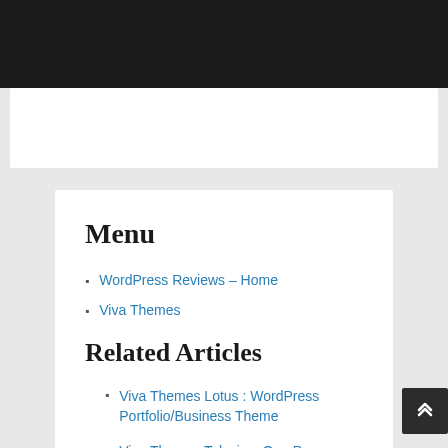Menu
WordPress Reviews – Home
Viva Themes
Related Articles
Viva Themes Lotus : WordPress Portfolio/Business Theme
Viva Themes Telesis – One Page WordPress Theme